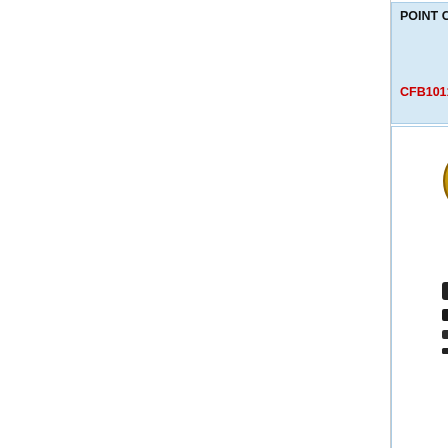POINT CARS 1996on
£17.04
(inc VAT) £20.45
CFB101120
POINT CARS 1996on (partial, right column)
CFB101080
[Figure (photo): Genuine Land Rover badge/seal and weatherstrip kit parts - black rubber strips]
WEATHERSTRIP KIT MSSK020 PLUS 24A1303 R/H
£51.28
(inc VAT) £61.54
MSSK022
CHECK ARM S (partial, right column)
CGE10039
[Figure (photo): Door window regulator screw - large chrome/silver bolt with cross head]
DOOR WINDOW REGULATOR (partial)
[Figure (photo): Door upper seal - circular black rubber ring/gasket]
DOOR UPPER (partial, right column)